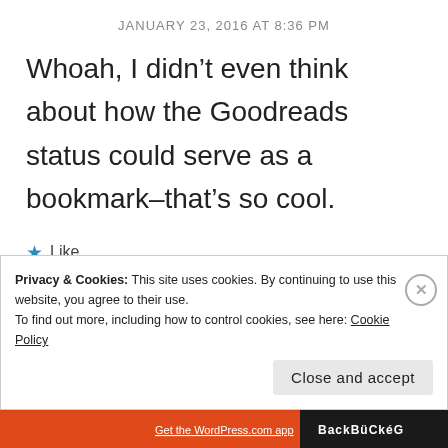JANUARY 23, 2016 AT 8:36 PM
Whoah, I didn’t even think about how the Goodreads status could serve as a bookmark–that’s so cool.
★ Like
Privacy & Cookies: This site uses cookies. By continuing to use this website, you agree to their use.
To find out more, including how to control cookies, see here: Cookie Policy
Close and accept